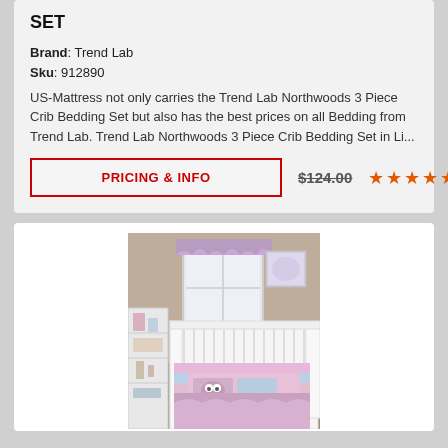SET
Brand: Trend Lab
Sku: 912890
US-Mattress not only carries the Trend Lab Northwoods 3 Piece Crib Bedding Set but also has the best prices on all Bedding from Trend Lab. Trend Lab Northwoods 3 Piece Crib Bedding Set in Li...
PRICING & INFO
$124.00
[Figure (photo): Baby crib with purple/lavender bedding set including bumper and skirt, with a window valance and white dresser/shelf in the background]